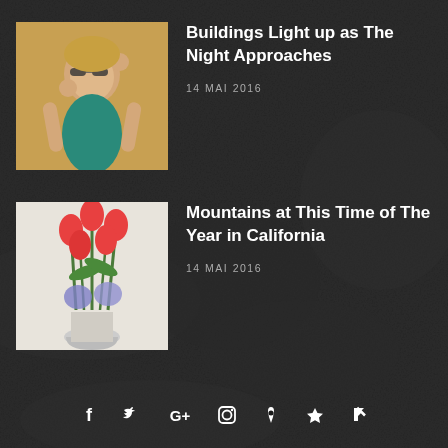[Figure (photo): Thumbnail photo of a young woman wearing sunglasses and a teal top, posing against a yellow background]
Buildings Light up as The Night Approaches
14 MAI 2016
[Figure (photo): Thumbnail photo of red tulips and purple hyacinths in a white vase]
Mountains at This Time of The Year in California
14 MAI 2016
[Figure (infographic): Social media icons row: Facebook, Twitter, Google+, Instagram, Pinterest, Heart/Bloglovin, RSS]
Copyright © 2016 ThemeSphere. All rights reserved. Designed by